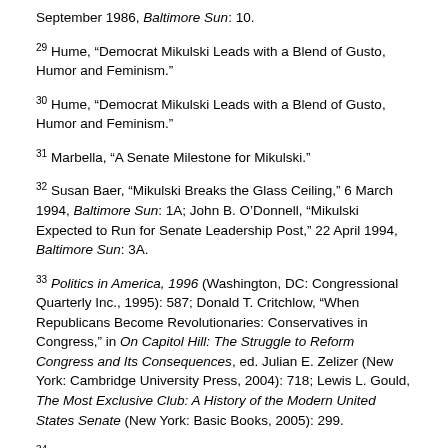September 1986, Baltimore Sun: 10.
29 Hume, “Democrat Mikulski Leads with a Blend of Gusto, Humor and Feminism.”
30 Hume, “Democrat Mikulski Leads with a Blend of Gusto, Humor and Feminism.”
31 Marbella, “A Senate Milestone for Mikulski.”
32 Susan Baer, “Mikulski Breaks the Glass Ceiling,” 6 March 1994, Baltimore Sun: 1A; John B. O’Donnell, “Mikulski Expected to Run for Senate Leadership Post,” 22 April 1994, Baltimore Sun: 3A.
33 Politics in America, 1996 (Washington, DC: Congressional Quarterly Inc., 1995): 587; Donald T. Critchlow, “When Republicans Become Revolutionaries: Conservatives in Congress,” in On Capitol Hill: The Struggle to Reform Congress and Its Consequences, ed. Julian E. Zelizer (New York: Cambridge University Press, 2004): 718; Lewis L. Gould, The Most Exclusive Club: A History of the Modern United States Senate (New York: Basic Books, 2005): 299.
34 Nia-Malika Henderson, “Barbara Mikulski Made It Okay for Women to Wear